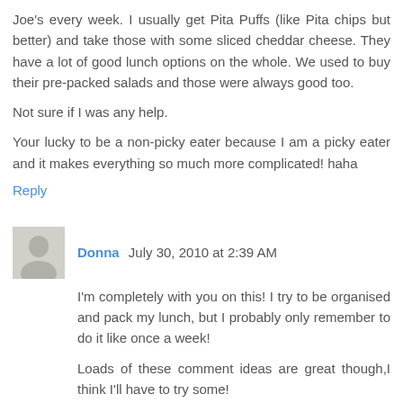Joe's every week. I usually get Pita Puffs (like Pita chips but better) and take those with some sliced cheddar cheese. They have a lot of good lunch options on the whole. We used to buy their pre-packed salads and those were always good too.
Not sure if I was any help.
Your lucky to be a non-picky eater because I am a picky eater and it makes everything so much more complicated! haha
Reply
Donna  July 30, 2010 at 2:39 AM
I'm completely with you on this! I try to be organised and pack my lunch, but I probably only remember to do it like once a week!
Loads of these comment ideas are great though,I think I'll have to try some!